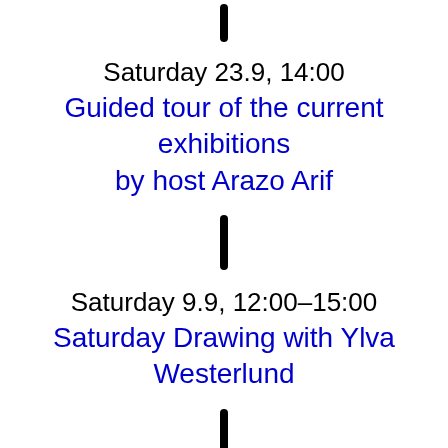[Figure (other): Short vertical black divider bar at top]
Saturday 23.9, 14:00
Guided tour of the current exhibitions by host Arazo Arif
[Figure (other): Short vertical black divider bar in middle]
Saturday 9.9, 12:00–15:00
Saturday Drawing with Ylva Westerlund
[Figure (other): Short vertical black divider bar at bottom]